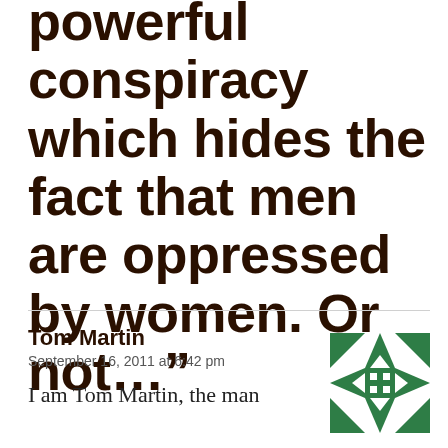powerful conspiracy which hides the fact that men are oppressed by women. Or not…”
Tom Martin
September 16, 2011 at 6:42 pm
I am Tom Martin, the man
[Figure (illustration): Green geometric quilt-like decorative avatar icon made of triangles and squares]